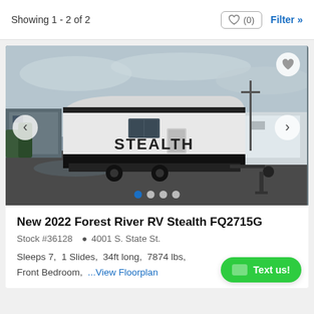Showing 1 - 2 of 2
[Figure (photo): A white and black Forest River RV Stealth travel trailer parked in a dealer lot on an overcast day, with other RVs visible in the background.]
New 2022 Forest River RV Stealth FQ2715G
Stock #36128  4001 S. State St.
Sleeps 7,  1 Slides,  34ft long,  7874 lbs,  Front Bedroom,  ...View Floorplan